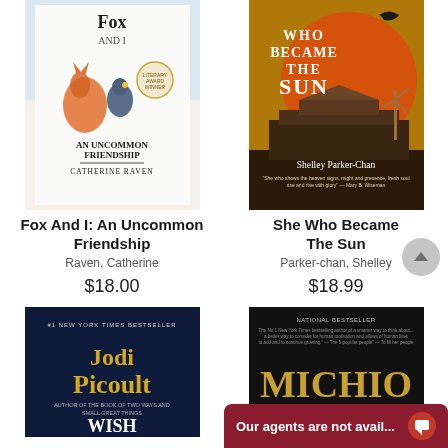[Figure (illustration): Book cover for 'Fox And I: An Uncommon Friendship' by Catherine Raven. White background with watercolor fox and bird illustration, Literary Award Winner badge.]
Fox And I: An Uncommon Friendship
Raven, Catherine
$18.00
[Figure (illustration): Book cover for 'She Who Became The Sun' by Shelley Parker-Chan. Dark yellow/orange background with large sun and silhouette of Chinese imperial building.]
She Who Became The Sun
Parker-chan, Shelley
$18.99
[Figure (illustration): Book cover for a Jodi Picoult book '#1 New York Times Bestseller'. Dark navy background with gold/yellow text 'Jodi Picoult', subtitle 'WISH'. Partially visible.]
[Figure (illustration): Book cover for a Michio book. Dark background with gold text 'MICHIO'. Partially visible.]
Our agents are not avail...